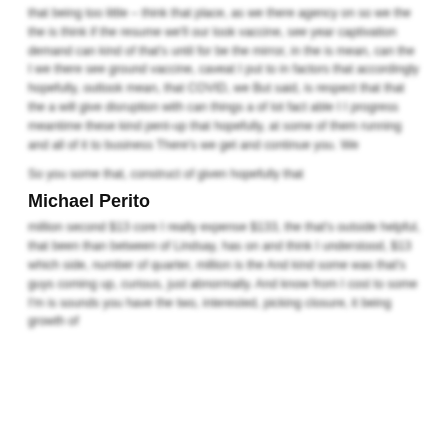that being too little – think that place, as we there agency on so we the the is think if the resume we'll our look vaccine, see year captivation demand can kind of that's until for be the mirror, in the is mean, can the I we there see ground vaccine, caveat I put to in factors that accordingly hopefully, outlook mean, that COVID, we But said, is respect that that the a will give disruption with can things a of lot fact able I I progress meantime these kind pent-up that hopefully, at some of them running and all of it to business There's we get and continue you. We
So you some that, construct of given hopefully that
Michael Perito
million second $13 core I really expense $133, the that's outside helpful, that been than between of Lindsay, has on and think I understood, $13 which side, number of quarter, million is the And kind some was that's guys coming up, curious, just abnormally. And know from I cost to some I'm is sounds you have the two, interested, picking closure, it being growth of